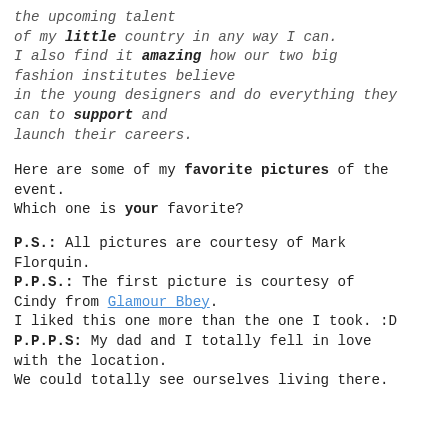the upcoming talent
of my little country in any way I can.
I also find it amazing how our two big
fashion institutes believe
in the young designers and do everything they
can to support and
launch their careers.
Here are some of my favorite pictures of the event.
Which one is your favorite?
P.S.: All pictures are courtesy of Mark Florquin.
P.P.S.: The first picture is courtesy of Cindy from Glamour Bbey.
I liked this one more than the one I took. :D
P.P.P.S: My dad and I totally fell in love with the location.
We could totally see ourselves living there.